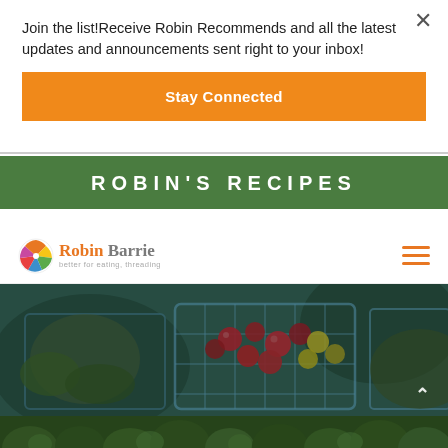Join the list!Receive Robin Recommends and all the latest updates and announcements sent right to your inbox!
Stay Connected
ROBIN'S RECIPES
[Figure (logo): Robin Barrie logo with colorful pinwheel icon and tagline 'better for eating, threading']
[Figure (photo): Dark teal-toned photograph of red and yellow cherry tomatoes in blue plastic market baskets]
[Figure (photo): Dark green-toned photograph of broccoli plants partially visible at bottom edge]